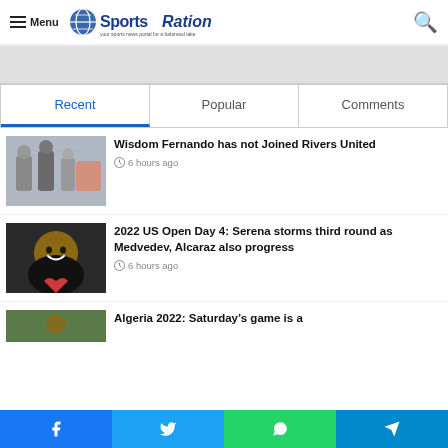Menu | SportsRation
[Figure (screenshot): SportsRation website navigation header with hamburger menu, logo, and search icon]
Recent | Popular | Comments tabs
Wisdom Fernando has not Joined Rivers United
6 hours ago
[Figure (photo): Group of people standing, news thumbnail for Wisdom Fernando article]
2022 US Open Day 4: Serena storms third round as Medvedev, Alcaraz also progress
6 hours ago
[Figure (photo): Serena Williams smiling, thumbnail for US Open article]
Algeria 2022: Saturday’s game is a
[Figure (photo): Partial thumbnail for Algeria 2022 article]
Facebook | Twitter | WhatsApp | Telegram social share bar